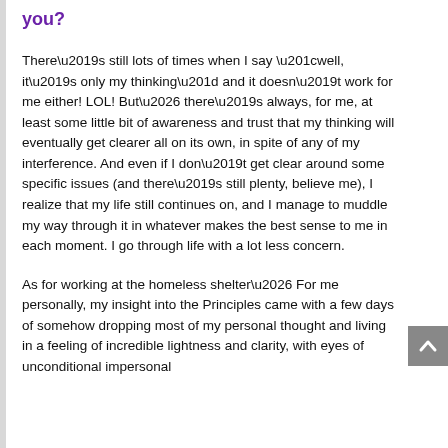you?
There’s still lots of times when I say “well, it’s only my thinking” and it doesn’t work for me either! LOL! But… there’s always, for me, at least some little bit of awareness and trust that my thinking will eventually get clearer all on its own, in spite of any of my interference. And even if I don’t get clear around some specific issues (and there’s still plenty, believe me), I realize that my life still continues on, and I manage to muddle my way through it in whatever makes the best sense to me in each moment. I go through life with a lot less concern.
As for working at the homeless shelter… For me personally, my insight into the Principles came with a few days of somehow dropping most of my personal thought and living in a feeling of incredible lightness and clarity, with eyes of unconditional impersonal